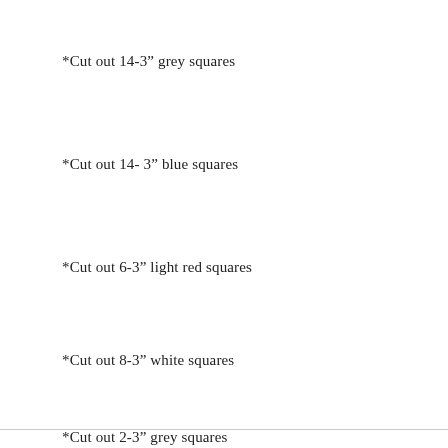*Cut out 14-3” grey squares
*Cut out 14- 3” blue squares
*Cut out 6-3” light red squares
*Cut out 8-3” white squares
*Cut out 2-3” grey squares